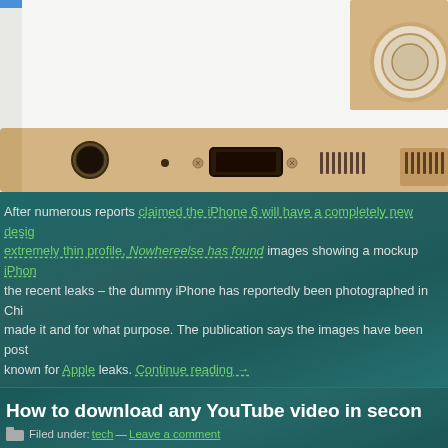[Figure (photo): Close-up photo of the bottom edge of a gold iPhone 6 mockup showing the headphone jack, microphone hole, Lightning connector port, and speaker grille]
After numerous reports claimed the iPhone 6 will have a completely new design with an extremely thin profile, Nowhereelse has found images showing a mockup iPhone consistent with the recent leaks – the dummy iPhone has reportedly been photographed in China by someone who made it and for what purpose. The publication says the images have been posted by a source known for Apple leaks. Continue reading →
How to download any YouTube video in secon
Filed under: tech — Leave a comment